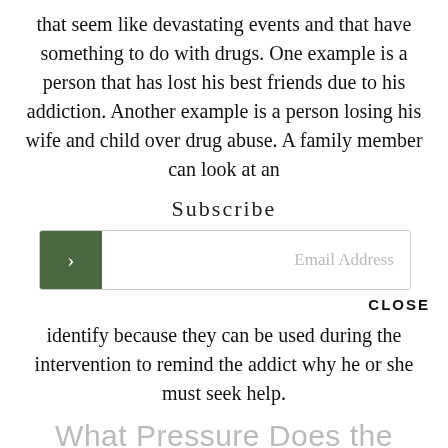that seem like devastating events and that have something to do with drugs. One example is a person that has lost his best friends due to his addiction. Another example is a person losing his wife and child over drug abuse. A family member can look at an
Subscribe
[Figure (screenshot): Email subscription form with a green arrow button on the left and an Email Address placeholder input field on the right]
CLOSE
identify because they can be used during the intervention to remind the addict why he or she must seek help.
What Pressure Does the Addict Feel Now?